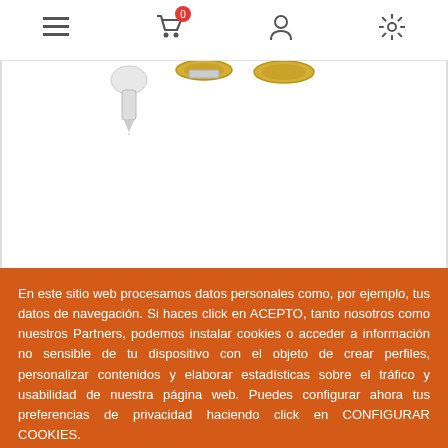Navigation bar with menu, cart (0), user, and settings icons
[Figure (photo): Product image area showing partial view of KIT 5M. K-300-E BLANCO FRIO lighting kit components on white background]
KIT 5M. K-300-E BLANCO FRIO
46,79 €
En este sitio web procesamos datos personales como, por ejemplo, tus datos de navegación. Si haces click en ACEPTO, tanto nosotros como nuestros Partners, podemos instalar cookies o acceder a información no sensible de tu dispositivo con el objeto de crear perfiles, personalizar contenidos y elaborar estadísticas sobre el tráfico y usabilidad de nuestra página web. Puedes configurar ahora tus preferencias de privacidad haciendo click en CONFIGURAR COOKIES.
Acepto
Configurar cookies